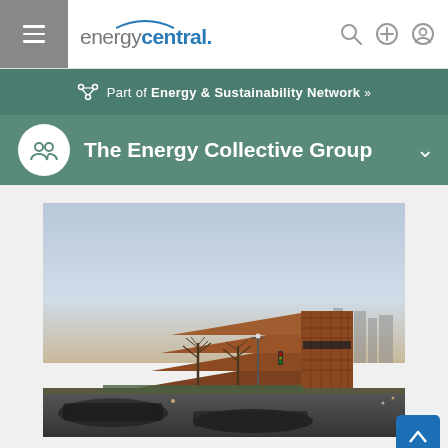energycentral.
Part of Energy & Sustainability Network »
The Energy Collective Group
[Figure (photo): Exterior photo of a large modern building with a distinctive bronze/brown latticed facade, likely the National Museum of African American History and Culture in Washington DC, taken from street level with motion-blurred cars and bare winter trees in the foreground under a clear blue sky.]